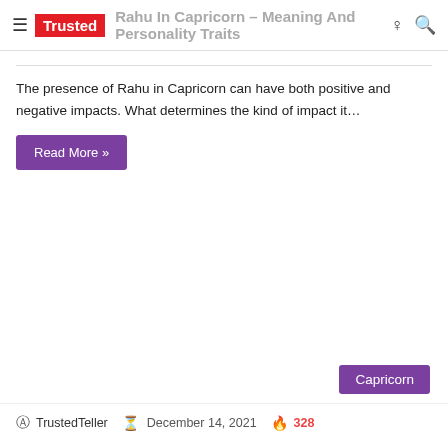Trusted | Rahu In Capricorn – Meaning And Personality Traits
Rahu In Capricorn – Meaning And Personality Traits
The presence of Rahu in Capricorn can have both positive and negative impacts. What determines the kind of impact it…
Read More »
Capricorn
TrustedTeller   December 14, 2021   328